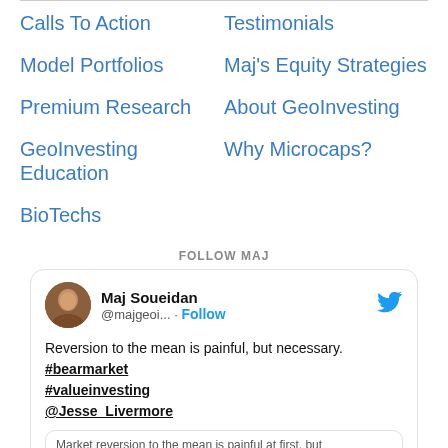Calls To Action
Testimonials
Model Portfolios
Maj's Equity Strategies
Premium Research
About GeoInvesting
GeoInvesting Education
Why Microcaps?
BioTechs
FOLLOW MAJ
Maj Soueidan @majgeoi... · Follow
Reversion to the mean is painful, but necessary. #bearmarket #valueinvesting @Jesse_Livermore
Market reversion to the mean is painful at first, but